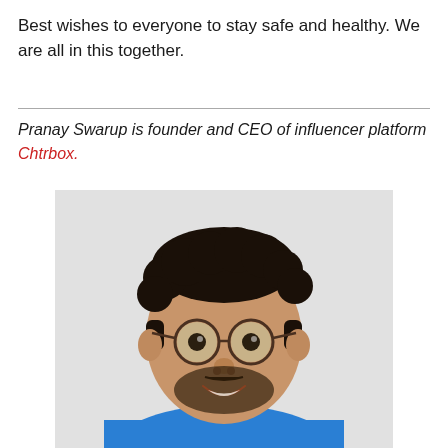Best wishes to everyone to stay safe and healthy. We are all in this together.
Pranay Swarup is founder and CEO of influencer platform Chtrbox.
[Figure (photo): Headshot photo of Pranay Swarup, a young man with curly dark hair, round glasses, beard, wearing a blue t-shirt, smiling at camera against a light gray background.]